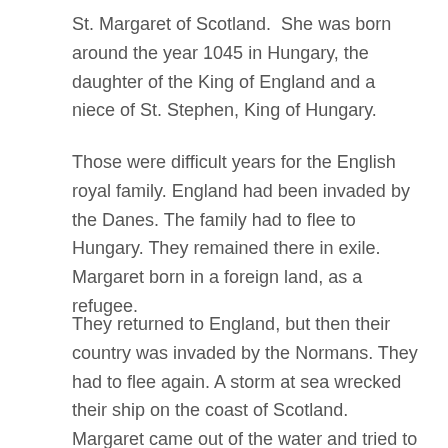St. Margaret of Scotland.  She was born around the year 1045 in Hungary, the daughter of the King of England and a niece of St. Stephen, King of Hungary.
Those were difficult years for the English royal family. England had been invaded by the Danes. The family had to flee to Hungary. They remained there in exile. Margaret born in a foreign land, as a refugee.
They returned to England, but then their country was invaded by the Normans. They had to flee again. A storm at sea wrecked their ship on the coast of Scotland. Margaret came out of the water and tried to recover, resting on a rock on the coastline. The family was saved with the help of Malcolm III, King of Scotland. Margaret and Malcolm soon fell in love, and